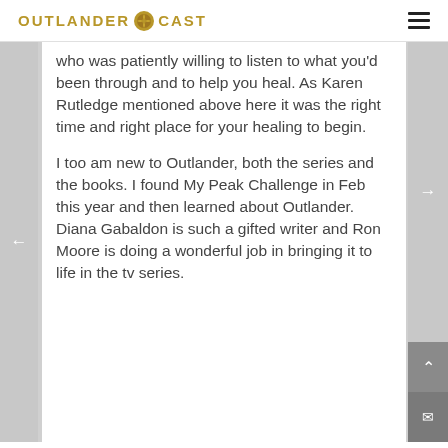OUTLANDER CAST
who was patiently willing to listen to what you'd been through and to help you heal. As Karen Rutledge mentioned above here it was the right time and right place for your healing to begin.
I too am new to Outlander, both the series and the books. I found My Peak Challenge in Feb this year and then learned about Outlander. Diana Gabaldon is such a gifted writer and Ron Moore is doing a wonderful job in bringing it to life in the tv series.